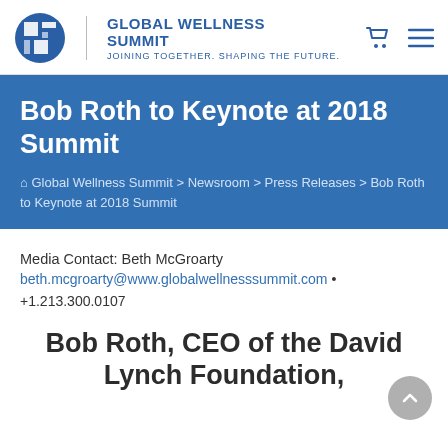Global Wellness Summit — Joining Together. Shaping the Future.
Bob Roth to Keynote at 2018 Summit
Global Wellness Summit > Newsroom > Press Releases > Bob Roth to Keynote at 2018 Summit
Media Contact: Beth McGroarty beth.mcgroarty@www.globalwellnesssummit.com • +1.213.300.0107
Bob Roth, CEO of the David Lynch Foundation,